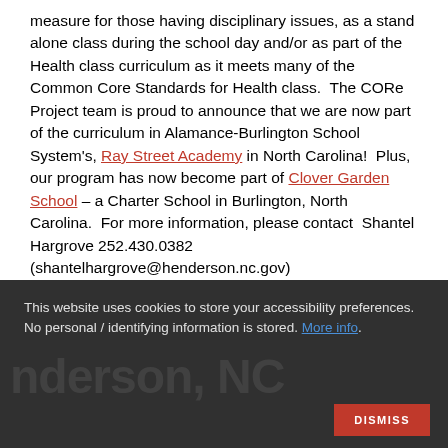measure for those having disciplinary issues, as a stand alone class during the school day and/or as part of the Health class curriculum as it meets many of the Common Core Standards for Health class.  The CORe Project team is proud to announce that we are now part of the curriculum in Alamance-Burlington School System's, Ray Street Academy in North Carolina!  Plus,  our program has now become part of Clover Garden School – a Charter School in Burlington, North Carolina.  For more information, please contact  Shantel Hargrove 252.430.0382 (shantelhargrove@henderson.nc.gov)
This website uses cookies to store your accessibility preferences. No personal / identifying information is stored. More info.